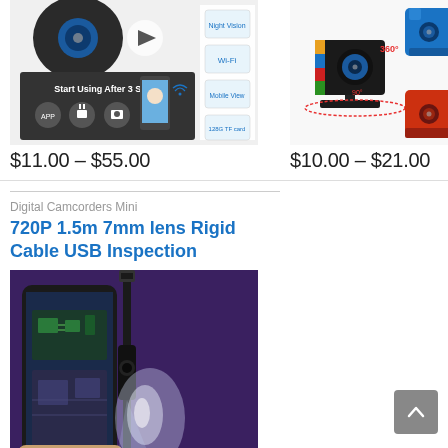[Figure (photo): Product image of a mini WiFi camera with setup steps diagram and phone app screenshot. Text reads 'Start Using After 3 Steps' with icons for APP, power, and camera connection.]
$11.00 – $55.00
[Figure (photo): Product image of a small cube-shaped mini camera in black, blue, and red/orange variants with 360-degree rotation annotation.]
$10.00 – $21.00
Digital Camcorders Mini
720P 1.5m 7mm lens Rigid Cable USB Inspection
[Figure (photo): Product image of a USB inspection camera (endoscope) with a flexible cable, shown next to a hand holding a smartphone displaying circuit board imagery, with a lit LED at the camera tip.]
$10.00 – $22.00